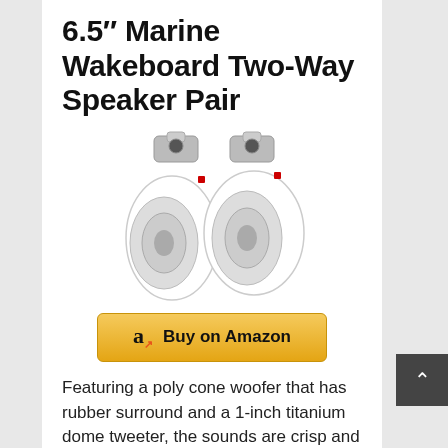6.5″ Marine Wakeboard Two-Way Speaker Pair
[Figure (photo): A pair of white 6.5-inch marine wakeboard two-way speakers with silver mounting clamps on top and red terminals visible, shown against a white background.]
Buy on Amazon
Featuring a poly cone woofer that has rubber surround and a 1-inch titanium dome tweeter, the sounds are crisp and clear from this speaker